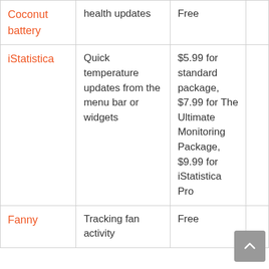| App | Feature | Price |  |
| --- | --- | --- | --- |
| Coconut battery | health updates | Free |  |
| iStatistica | Quick temperature updates from the menu bar or widgets | $5.99 for standard package, $7.99 for The Ultimate Monitoring Package, $9.99 for iStatistica Pro |  |
| Fanny | Tracking fan activity | Free |  |